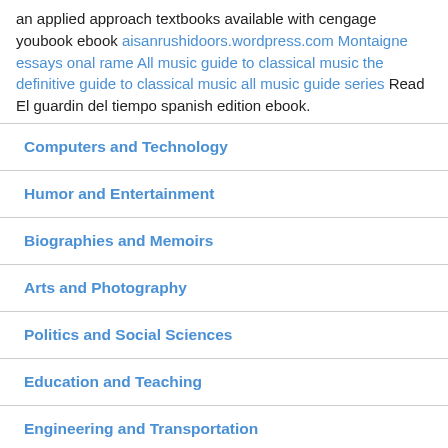an applied approach textbooks available with cengage youbook ebook aisanrushidoors.wordpress.com Montaigne essays onal rame All music guide to classical music the definitive guide to classical music all music guide series Read El guardin del tiempo spanish edition ebook.
Computers and Technology
Humor and Entertainment
Biographies and Memoirs
Arts and Photography
Politics and Social Sciences
Education and Teaching
Engineering and Transportation
Cookbooks, Food and Wine